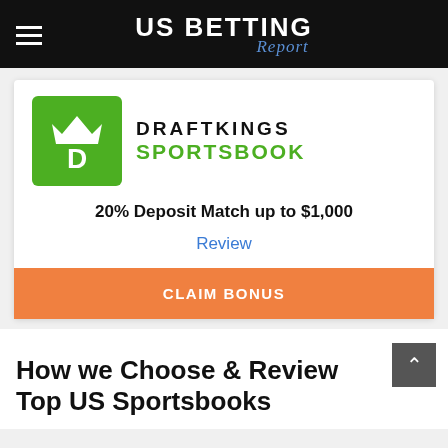US BETTING Report
[Figure (logo): DraftKings Sportsbook logo: green square with white crown and D icon, text DRAFTKINGS SPORTSBOOK]
20% Deposit Match up to $1,000
Review
CLAIM BONUS
How we Choose & Review Top US Sportsbooks